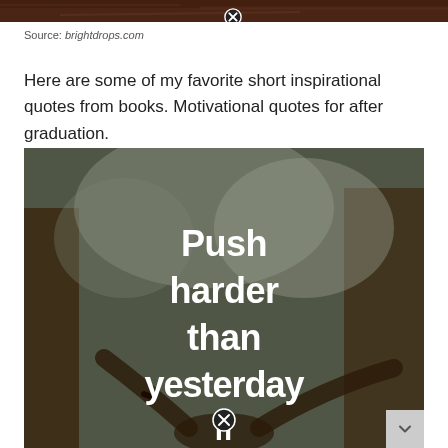[Figure (photo): Top portion of a photo, dark reddish-brown background, partially visible]
Source: brightdrops.com
Here are some of my favorite short inspirational quotes from books. Motivational quotes for after graduation.
[Figure (photo): Dark forest background with person raising arms, white text overlay reading 'Push harder than yesterday if' with a close button overlay]